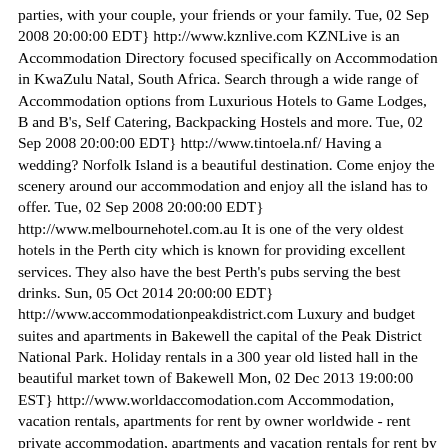parties, with your couple, your friends or your family. Tue, 02 Sep 2008 20:00:00 EDT} http://www.kznlive.com KZNLive is an Accommodation Directory focused specifically on Accommodation in KwaZulu Natal, South Africa. Search through a wide range of Accommodation options from Luxurious Hotels to Game Lodges, B and B's, Self Catering, Backpacking Hostels and more. Tue, 02 Sep 2008 20:00:00 EDT} http://www.tintoela.nf/ Having a wedding? Norfolk Island is a beautiful destination. Come enjoy the scenery around our accommodation and enjoy all the island has to offer. Tue, 02 Sep 2008 20:00:00 EDT} http://www.melbournehotel.com.au It is one of the very oldest hotels in the Perth city which is known for providing excellent services. They also have the best Perth's pubs serving the best drinks. Sun, 05 Oct 2014 20:00:00 EDT} http://www.accommodationpeakdistrict.com Luxury and budget suites and apartments in Bakewell the capital of the Peak District National Park. Holiday rentals in a 300 year old listed hall in the beautiful market town of Bakewell Mon, 02 Dec 2013 19:00:00 EST} http://www.worldaccomodation.com Accommodation, vacation rentals, apartments for rent by owner worldwide - rent private accommodation, apartments and vacation rentals for rent by owner from Asia to Europe, last minute offers, free vacation rental listing Tue, 02 Sep 2008 20:00:00 EDT} http://www.CitiHostels.com/ Citi Hostels is located in the highly fashionable village quarter in the heart of Dublin city providing 27